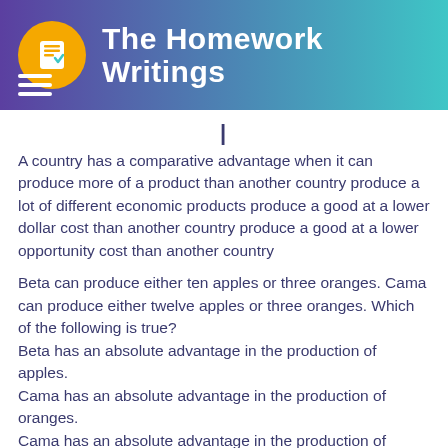The Homework Writings
A country has a comparative advantage when it can produce more of a product than another country produce a lot of different economic products produce a good at a lower dollar cost than another country produce a good at a lower opportunity cost than another country
Beta can produce either ten apples or three oranges. Cama can produce either twelve apples or three oranges. Which of the following is true? Beta has an absolute advantage in the production of apples. Cama has an absolute advantage in the production of oranges. Cama has an absolute advantage in the production of apples. Cama has a comparative advantage in the production of oranges.